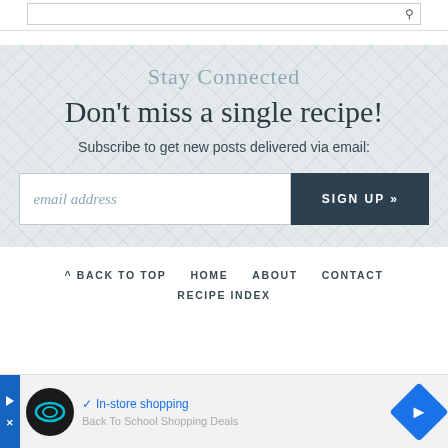[Figure (screenshot): Top search bar area, partially visible at the top of the page]
Stay Connected — Don't miss a single recipe!
Subscribe to get new posts delivered via email:
[Figure (screenshot): Email signup form with text input field labeled 'email address' and a dark teal SIGN UP button]
^ BACK TO TOP   HOME   ABOUT   CONTACT   RECIPE INDEX
[Figure (screenshot): Advertisement banner at bottom showing a circular logo with infinity-like symbol, checkmark 'In-store shopping', navigation icon, and 'Back To School Shopping Deals' text]